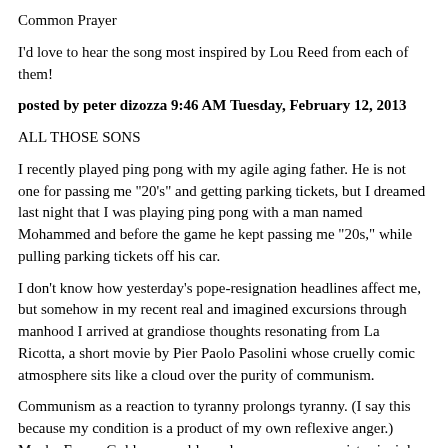Common Prayer
I'd love to hear the song most inspired by Lou Reed from each of them!
posted by peter dizozza 9:46 AM Tuesday, February 12, 2013
ALL THOSE SONS
I recently played ping pong with my agile aging father. He is not one for passing me "20's" and getting parking tickets, but I dreamed last night that I was playing ping pong with a man named Mohammed and before the game he kept passing me "20s," while pulling parking tickets off his car.
I don't know how yesterday's pope-resignation headlines affect me, but somehow in my recent real and imagined excursions through manhood I arrived at grandiose thoughts resonating from La Ricotta, a short movie by Pier Paolo Pasolini whose cruelly comic atmosphere sits like a cloud over the purity of communism.
Communism as a reaction to tyranny prolongs tyranny. (I say this because my condition is a product of my own reflexive anger.) Maybe Emma Goldman could purely express communist principles (I don't know), but something muddies the rebel causes for both Pier Paolo Pasolini and Marc Blitzstein.